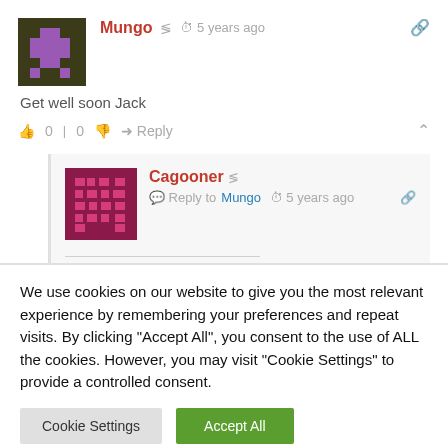[Figure (illustration): Pixel art avatar for user Mungo — dark olive/brown background with purple pixel figure]
Mungo  5 years ago
Get well soon Jack
0 | 0  Reply
[Figure (illustration): Pixel art avatar for user Cagooner — dark magenta/pink background with pixel figure]
Cagooner
Reply to Mungo  5 years ago
We use cookies on our website to give you the most relevant experience by remembering your preferences and repeat visits. By clicking "Accept All", you consent to the use of ALL the cookies. However, you may visit "Cookie Settings" to provide a controlled consent.
Cookie Settings
Accept All